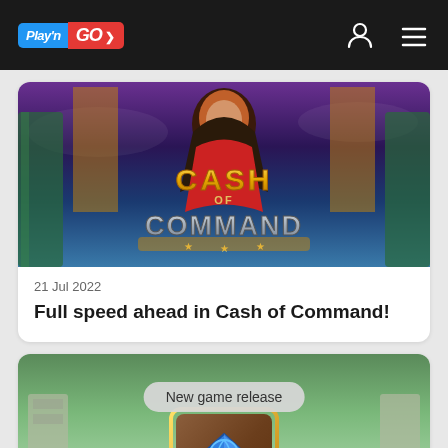Play'n GO
[Figure (screenshot): Cash of Command slot game promotional banner with pirate/military commander character and yellow stylized text logo reading CASH of COMMAND]
21 Jul 2022
Full speed ahead in Cash of Command!
[Figure (screenshot): Partial game card showing green fantasy background with a wooden door/book with blue triskelion symbol and a rounded badge overlay reading 'New game release']
New game release